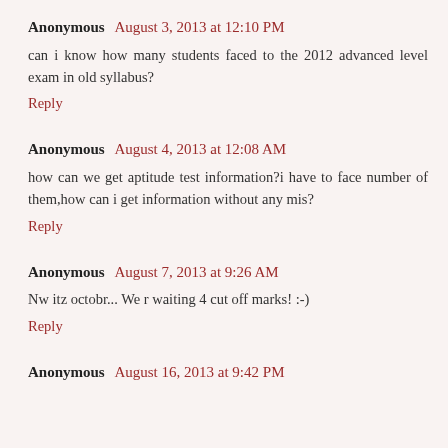Anonymous  August 3, 2013 at 12:10 PM
can i know how many students faced to the 2012 advanced level exam in old syllabus?
Reply
Anonymous  August 4, 2013 at 12:08 AM
how can we get aptitude test information?i have to face number of them,how can i get information without any mis?
Reply
Anonymous  August 7, 2013 at 9:26 AM
Nw itz octobr... We r waiting 4 cut off marks! :-)
Reply
Anonymous  August 16, 2013 at 9:42 PM